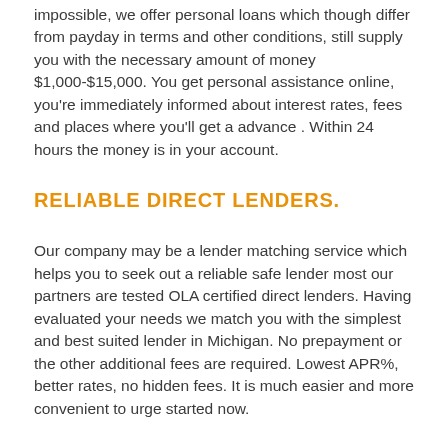impossible, we offer personal loans which though differ from payday in terms and other conditions, still supply you with the necessary amount of money $1,000-$15,000. You get personal assistance online, you're immediately informed about interest rates, fees and places where you'll get a advance . Within 24 hours the money is in your account.
RELIABLE DIRECT LENDERS.
Our company may be a lender matching service which helps you to seek out a reliable safe lender most our partners are tested OLA certified direct lenders. Having evaluated your needs we match you with the simplest and best suited lender in Michigan. No prepayment or the other additional fees are required. Lowest APR%, better rates, no hidden fees. It is much easier and more convenient to urge started now.